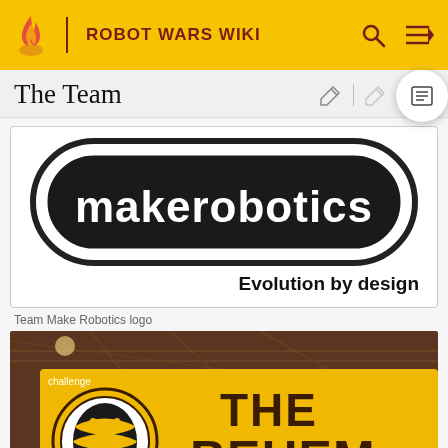ROBOT WARS WIKI
The Team
[Figure (logo): Makerobotics logo — black rounded rectangle badge with white text 'makerobotics' and tagline 'Evolution by design']
Team Make Robotics logo
[Figure (photo): Photo of a yellow banner reading 'The Behemoth' with a striped bee/robot logo, hanging in an industrial building. Text 'challenge' visible top-left corner.]